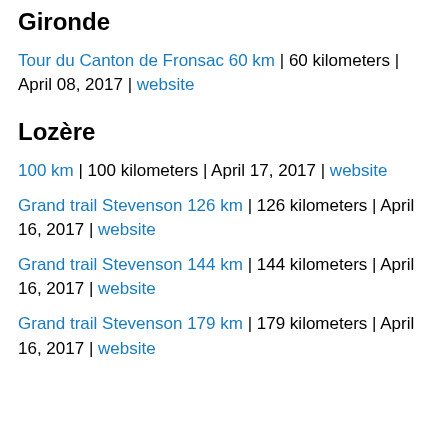Gironde
Tour du Canton de Fronsac 60 km | 60 kilometers | April 08, 2017 | website
Lozère
100 km | 100 kilometers | April 17, 2017 | website
Grand trail Stevenson 126 km | 126 kilometers | April 16, 2017 | website
Grand trail Stevenson 144 km | 144 kilometers | April 16, 2017 | website
Grand trail Stevenson 179 km | 179 kilometers | April 16, 2017 | website